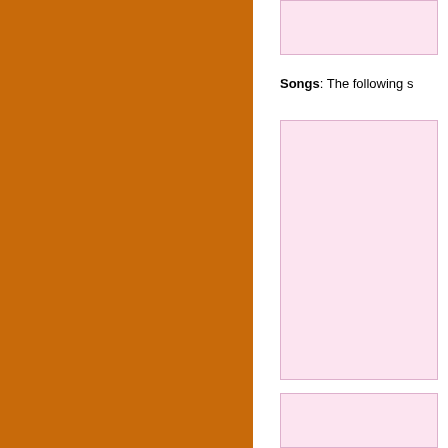[Figure (illustration): Large solid orange/burnt-orange rectangular block occupying the left portion of the page]
[Figure (screenshot): Pink background box at top right, partially visible]
Songs: The following s
[Figure (illustration): Pink background box with broken image icon labeled 'Thou judge of quic']
[Figure (illustration): Pink background box with broken image icon labeled 'As servants workin']